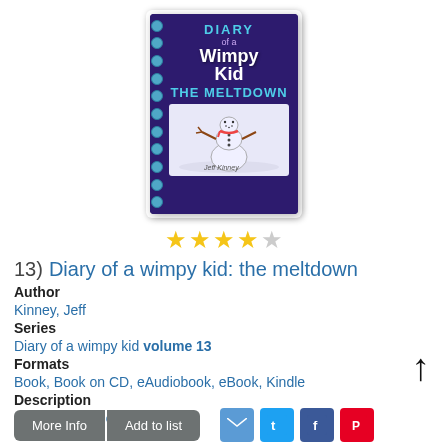[Figure (illustration): Book cover of 'Diary of a Wimpy Kid: The Meltdown' by Jeff Kinney. Purple background with spiral binding on left side, title text in blue and white, and a snowman cartoon illustration in a white square in the center-bottom area.]
[Figure (other): Star rating: 4 out of 5 stars (4 filled yellow stars, 1 empty gray star)]
13)  Diary of a wimpy kid: the meltdown
Author
Kinney, Jeff
Series
Diary of a wimpy kid volume 13
Formats
Book, Book on CD, eAudiobook, eBook, Kindle
Description
Read Description